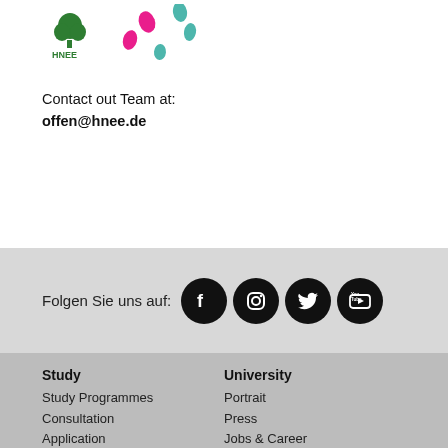[Figure (logo): HNEE logo (green tree/leaf icon above text HNEE) and decorative footprint icons in pink and teal]
Contact out Team at:
offen@hnee.de
Folgen Sie uns auf:
[Figure (illustration): Social media icons: Facebook, Instagram, Twitter, YouTube — white icons on black circles]
Study
Study Programmes
Consultation
Application
University
Portrait
Press
Jobs & Career
Contact and Location